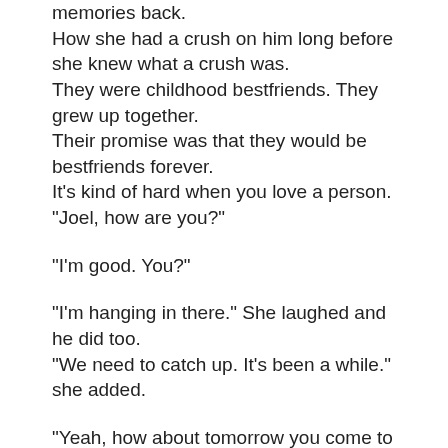memories back.
How she had a crush on him long before she knew what a crush was.
They were childhood bestfriends. They grew up together.
Their promise was that they would be bestfriends forever.
It's kind of hard when you love a person.
"Joel, how are you?"

"I'm good. You?"

"I'm hanging in there." She laughed and he did too.
"We need to catch up. It's been a while." she added.

"Yeah, how about tomorrow you come to my house and we can catch up with the band too?" He suggested.

"Sounds... good." Not what she had in mind but it would